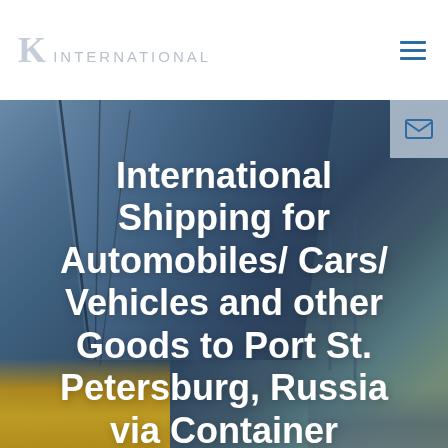K International
[Figure (photo): Background photo of a large cargo/vehicle transport ship hull with steel cables and dock cranes visible. Lower left corner shows yellow construction vehicles. The image has a blue-grey tonal palette suggesting a port/harbor environment.]
International Shipping for Automobiles/ Cars/ Vehicles and other Goods to Port St. Petersburg, Russia via Container